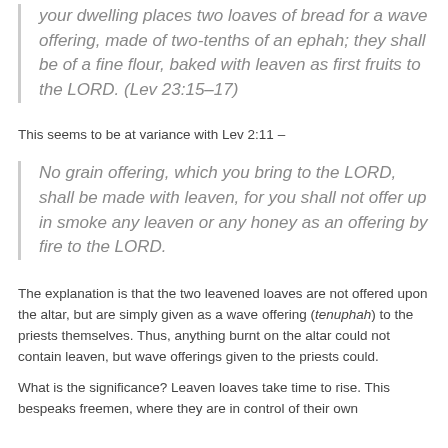your dwelling places two loaves of bread for a wave offering, made of two-tenths of an ephah; they shall be of a fine flour, baked with leaven as first fruits to the LORD. (Lev 23:15–17)
This seems to be at variance with Lev 2:11 –
No grain offering, which you bring to the LORD, shall be made with leaven, for you shall not offer up in smoke any leaven or any honey as an offering by fire to the LORD.
The explanation is that the two leavened loaves are not offered upon the altar, but are simply given as a wave offering (tenuphah) to the priests themselves. Thus, anything burnt on the altar could not contain leaven, but wave offerings given to the priests could.
What is the significance? Leaven loaves take time to rise. This bespeaks freemen, where they are in control of their own